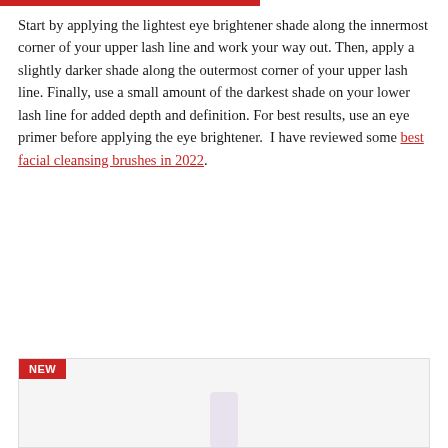Start by applying the lightest eye brightener shade along the innermost corner of your upper lash line and work your way out. Then, apply a slightly darker shade along the outermost corner of your upper lash line. Finally, use a small amount of the darkest shade on your lower lash line for added depth and definition. For best results, use an eye primer before applying the eye brightener.  I have reviewed some best facial cleansing brushes in 2022.
[Figure (photo): Product image area with NEW badge in red, showing a white/light purple cosmetic bottle or tube on a light grey background.]